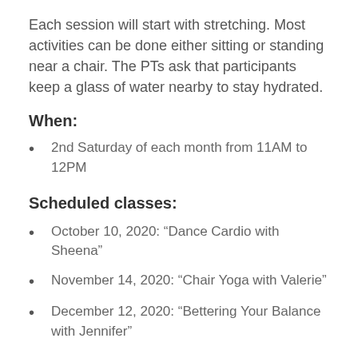Each session will start with stretching. Most activities can be done either sitting or standing near a chair. The PTs ask that participants keep a glass of water nearby to stay hydrated.
When:
2nd Saturday of each month from 11AM to 12PM
Scheduled classes:
October 10, 2020: “Dance Cardio with Sheena”
November 14, 2020: “Chair Yoga with Valerie”
December 12, 2020: “Bettering Your Balance with Jennifer”